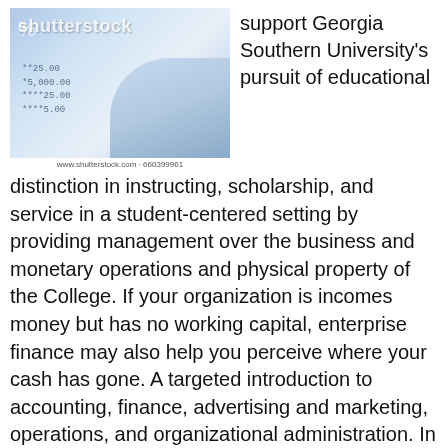[Figure (photo): Shutterstock stock photo of financial documents with numbers and coins in blue tones, watermarked with shutterstock.com · 660399961]
support Georgia Southern University's pursuit of educational distinction in instructing, scholarship, and service in a student-centered setting by providing management over the business and monetary operations and physical property of the College. If your organization is incomes money but has no working capital, enterprise finance may also help you perceive where your cash has gone. A targeted introduction to accounting, finance, advertising and marketing, operations, and organizational administration. In your second year, you will discover key business finance abilities and theories in your obligatory finance module.
You'll construct upon previous examine of the subject and perceive administration accounting within an